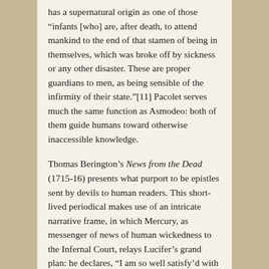has a supernatural origin as one of those “infants [who] are, after death, to attend mankind to the end of that stamen of being in themselves, which was broke off by sickness or any other disaster.  These are proper guardians to men, as being sensible of the infirmity of their state.”[11]  Pacolet serves much the same function as Asmodeo:  both of them guide humans toward otherwise inaccessible knowledge.

Thomas Berington’s News from the Dead (1715-16) presents what purport to be epistles sent by devils to human readers.  This short-lived periodical makes use of an intricate narrative frame, in which Mercury, as messenger of news of human wickedness to the Infernal Court, relays Lucifer’s grand plan:  he declares, “I am so well satisfy’d with the Duty and Service that’s paid up in…Christendom; that out of a mere sense of Gratitude and Generosity, I have Thoughts…to settle a publick and standing